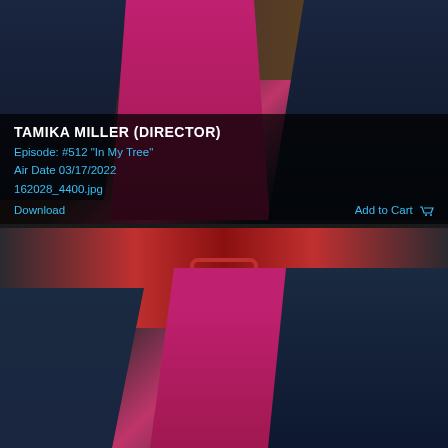[Figure (photo): On-set photo showing a person in a blue uniform on the left, a person in a bright pink/magenta top holding papers in the center, and a person in dark clothing on the right, inside what appears to be a TV production set resembling a fire station.]
TAMIKA MILLER (DIRECTOR)
Episode: #512 "In My Tree"
Air Date 03/17/2022
162028_4400.jpg
Download    Add to Cart
[Figure (photo): On-set photo showing three people: a person on the left in a dark jacket with a mask, a person in the center wearing a wide-brim black hat, black mask, and bright pink coat, and a person on the right in a dark shirt with a tan cap and mask, gesturing with their hand. Background shows a fire station set with a red and white design and the number 19.]